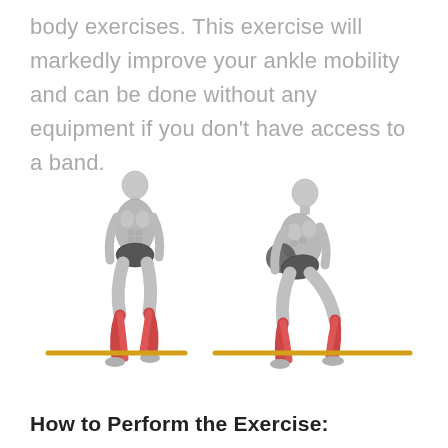body exercises. This exercise will markedly improve your ankle mobility and can be done without any equipment if you don't have access to a band.
[Figure (illustration): Two-panel anatomical illustration showing a man performing a banded ankle mobility exercise. Left panel: man standing upright with a resistance band (yellow/orange) around his lower leg/ankle area, with the gastrocnemius/calf highlighted in red/orange. Right panel: same man in a lunge position with the band still attached, muscles highlighted similarly. The band runs horizontally across both figures.]
How to Perform the Exercise: